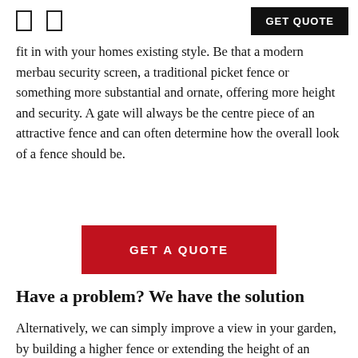GET QUOTE
fit in with your homes existing style. Be that a modern merbau security screen, a traditional picket fence or something more substantial and ornate, offering more height and security. A gate will always be the centre piece of an attractive fence and can often determine how the overall look of a fence should be.
[Figure (other): Red button with white text reading GET A QUOTE]
Have a problem? We have the solution
Alternatively, we can simply improve a view in your garden, by building a higher fence or extending the height of an existing one. We can create a privacy screen to help block out an